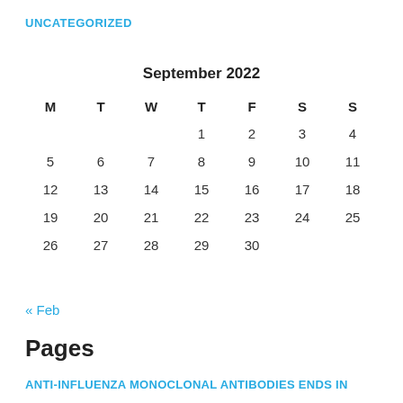UNCATEGORIZED
| M | T | W | T | F | S | S |
| --- | --- | --- | --- | --- | --- | --- |
|  |  |  | 1 | 2 | 3 | 4 |
| 5 | 6 | 7 | 8 | 9 | 10 | 11 |
| 12 | 13 | 14 | 15 | 16 | 17 | 18 |
| 19 | 20 | 21 | 22 | 23 | 24 | 25 |
| 26 | 27 | 28 | 29 | 30 |  |  |
« Feb
Pages
ANTI-INFLUENZA MONOCLONAL ANTIBODIES ENDS IN